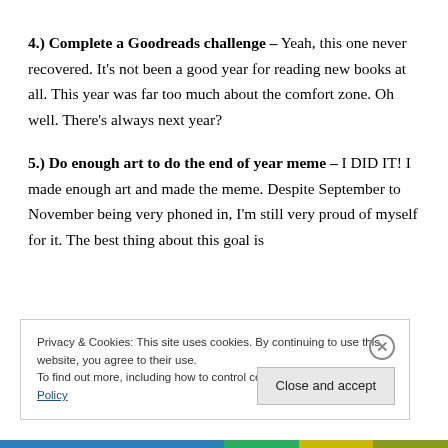4.) Complete a Goodreads challenge – Yeah, this one never recovered. It's not been a good year for reading new books at all. This year was far too much about the comfort zone. Oh well. There's always next year?
5.) Do enough art to do the end of year meme – I DID IT! I made enough art and made the meme. Despite September to November being very phoned in, I'm still very proud of myself for it. The best thing about this goal is
Privacy & Cookies: This site uses cookies. By continuing to use this website, you agree to their use.
To find out more, including how to control cookies, see here: Cookie Policy